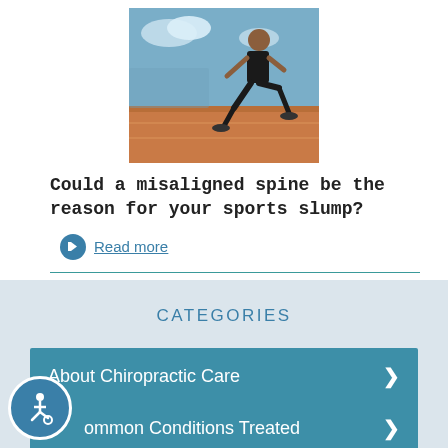[Figure (photo): A sprinter running on an athletics track, wearing black athletic gear, mid-stride in a race]
Could a misaligned spine be the reason for your sports slump?
Read more
CATEGORIES
About Chiropractic Care
Common Conditions Treated